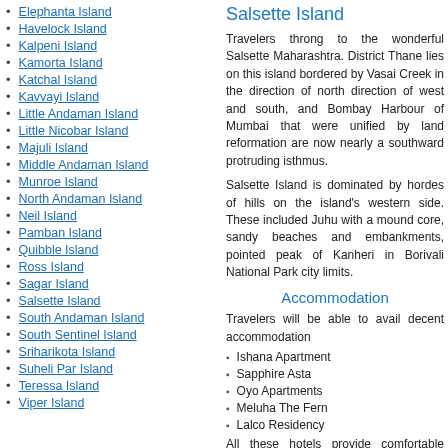Elephanta Island
Havelock Island
Kalpeni Island
Kamorta Island
Katchal Island
Kavvayi Island
Little Andaman Island
Little Nicobar Island
Majuli Island
Middle Andaman Island
Munroe Island
North Andaman Island
Neil Island
Pamban Island
Quibble Island
Ross Island
Sagar Island
Salsette Island
South Andaman Island
South Sentinel Island
Sriharikota Island
Suheli Par Island
Teressa Island
Viper Island
Salsette Island
Travelers throng to the wonderful Salsette Maharashtra. District Thane lies on this island bordered by Vasai Creek in the direction of north direction of west and south, and Bombay Harbour of Mumbai that were unified by land reformation are now nearly a southward protruding isthmus.
Salsette Island is dominated by hordes of hills on the island's western side. These included Juhu with a mound core, sandy beaches and embankments, pointed peak of Kanheri in Borivali National Park city limits.
Accommodation
Travelers will be able to avail decent accommodation
Ishana Apartment
Sapphire Asta
Oyo Apartments
Meluha The Fern
Lalco Residency
All these hotels provide comfortable rooms and
Events / Festivals in Salsette Island
Kanheri Caves: These caves are very popular. The Kanheri Caves, which line the side of stones caves include chaityas (halls), viharas (monasteries) by Buddhist monks in 1st century BC as part of.
Sanjay Gandhi National Park: You can easily find Butterflies, birds, deer, and other wildlife here.